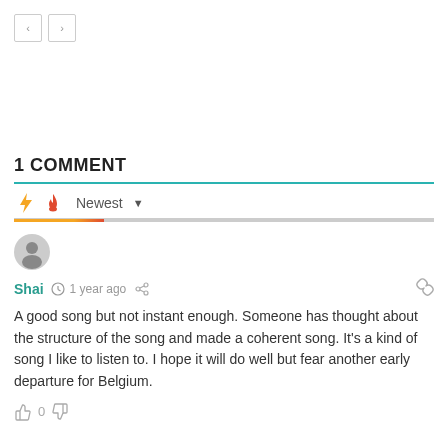[Figure (screenshot): Navigation previous/next buttons (< and >) as small square bordered buttons]
1 COMMENT
[Figure (infographic): Comment sort bar with lightning bolt icon (orange), flame icon (red-orange), and Newest dropdown]
[Figure (infographic): User avatar circle icon (gray silhouette)]
Shai  1 year ago
A good song but not instant enough. Someone has thought about the structure of the song and made a coherent song. It's a kind of song I like to listen to. I hope it will do well but fear another early departure for Belgium.
0